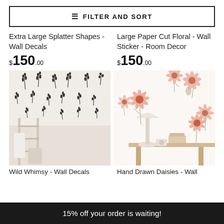FILTER AND SORT
Extra Large Splatter Shapes - Wall Decals
$150.00
Large Paper Cut Floral - Wall Sticker - Room Decor
$150.00
[Figure (photo): Photo of lavender/grass wall decals scattered across a white wall above a wooden ladder shelf with a white knit blanket]
[Figure (photo): Photo of pink daisy/cone flower wall stickers on a white wall above a light wooden desk with a lamp and small toy camera]
Wild Whimsy - Wall Decals
Hand Drawn Daisies - Wall
15% off your order is waiting!